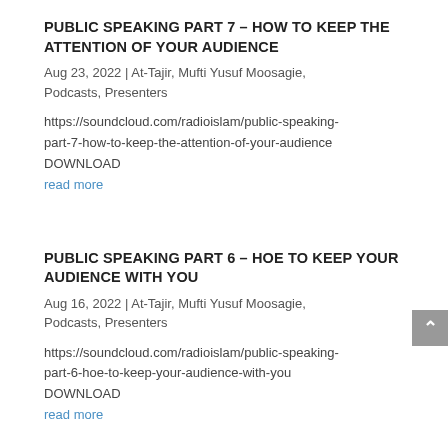PUBLIC SPEAKING PART 7 – HOW TO KEEP THE ATTENTION OF YOUR AUDIENCE
Aug 23, 2022 | At-Tajir, Mufti Yusuf Moosagie, Podcasts, Presenters
https://soundcloud.com/radioislam/public-speaking-part-7-how-to-keep-the-attention-of-your-audience
DOWNLOAD
read more
PUBLIC SPEAKING PART 6 – HOE TO KEEP YOUR AUDIENCE WITH YOU
Aug 16, 2022 | At-Tajir, Mufti Yusuf Moosagie, Podcasts, Presenters
https://soundcloud.com/radioislam/public-speaking-part-6-hoe-to-keep-your-audience-with-you
DOWNLOAD
read more